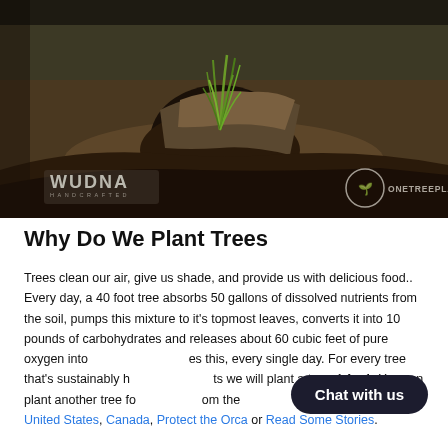[Figure (photo): A young green sapling growing from charred, dark soil and rocky earth — a forest regeneration or reforestation context. WUDNA HANDCRAFTED logo visible lower left; ONETREEPLANTED logo visible lower right.]
Why Do We Plant Trees
Trees clean our air, give us shade, and provide us with delicious food.. Every day, a 40 foot tree absorbs 50 gallons of dissolved nutrients from the soil, pumps this mixture to it's topmost leaves, converts it into 10 pounds of carbohydrates and releases about 60 cubic feet of pure oxygen into [Chat with us] es this, every single day. For every tree that's sustainably h[arvested] ts we will plant a tree, 1 for 1. You can plant another tree fo[r] [om the United States, Canada, Protect the Orca or Read Some Stories.